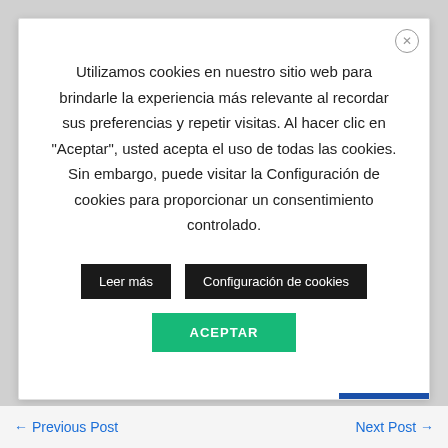Utilizamos cookies en nuestro sitio web para brindarle la experiencia más relevante al recordar sus preferencias y repetir visitas. Al hacer clic en "Aceptar", usted acepta el uso de todas las cookies. Sin embargo, puede visitar la Configuración de cookies para proporcionar un consentimiento controlado.
Leer más
Configuración de cookies
ACEPTAR
← Previous Post    Next Post →